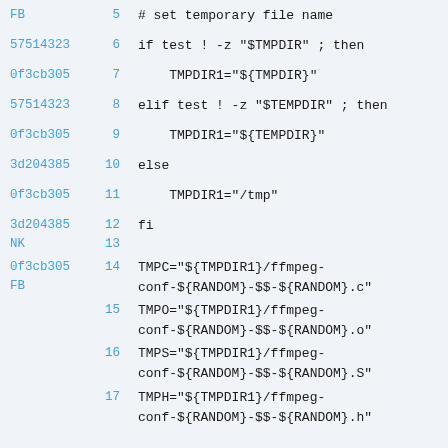Code listing showing shell script lines 5-17 with git hashes and line numbers
5    # set temporary file name
57514323 6    if test ! -z "$TMPDIR" ; then
0f3cb305 7        TMPDIR1="${TMPDIR}"
57514323 8    elif test ! -z "$TEMPDIR" ; then
0f3cb305 9        TMPDIR1="${TEMPDIR}"
3d204385 10   else
0f3cb305 11       TMPDIR1="/tmp"
3d204385 12   fi
NK 13
0f3cb305 FB 14   TMPC="${TMPDIR1}/ffmpeg-conf-${RANDOM}-$$-${RANDOM}.c"
15   TMPO="${TMPDIR1}/ffmpeg-conf-${RANDOM}-$$-${RANDOM}.o"
16   TMPS="${TMPDIR1}/ffmpeg-conf-${RANDOM}-$$-${RANDOM}.S"
17   TMPH="${TMPDIR1}/ffmpeg-conf-${RANDOM}-$$-${RANDOM}.h"